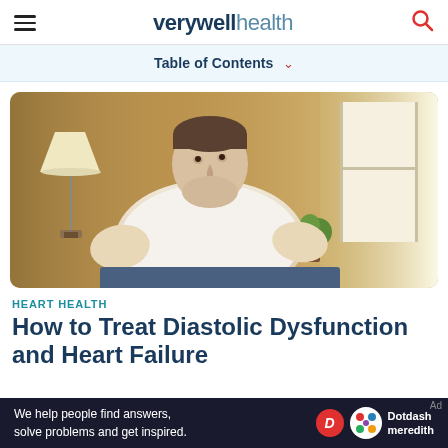verywell health
Table of Contents
[Figure (photo): Overweight man sitting in a chair at home, looking upward, with a lamp and window in the background]
HEART HEALTH
How to Treat Diastolic Dysfunction and Heart Failure
We help people find answers, solve problems and get inspired. Dotdash meredith